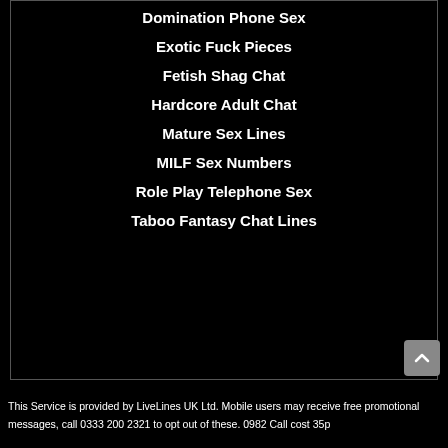Domination Phone Sex
Exotic Fuck Pieces
Fetish Shag Chat
Hardcore Adult Chat
Mature Sex Lines
MILF Sex Numbers
Role Play Telephone Sex
Taboo Fantasy Chat Lines
This Service is provided by LiveLines UK Ltd. Mobile users may receive free promotional messages, call 0333 200 2321 to opt out of these. 0982 Call cost 35p